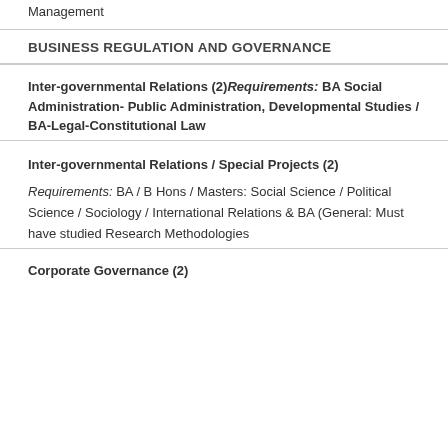Management
BUSINESS REGULATION AND GOVERNANCE
Inter-governmental Relations (2) Requirements: BA Social Administration- Public Administration, Developmental Studies / BA-Legal-Constitutional Law
Inter-governmental Relations / Special Projects (2)
Requirements: BA / B Hons / Masters: Social Science / Political Science / Sociology / International Relations & BA (General: Must have studied Research Methodologies
Corporate Governance (2)